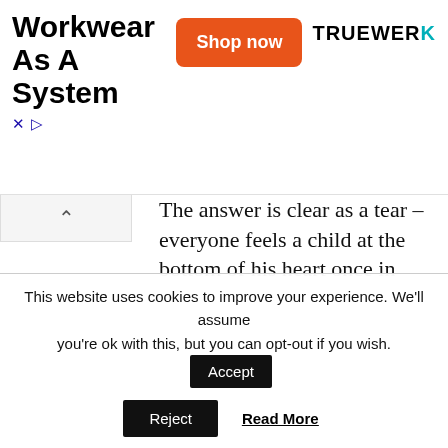[Figure (other): Advertisement banner for Truewerk: 'Workwear As A System' with orange 'Shop now' button and TRUEWERK logo]
The answer is clear as a tear – everyone feels a child at the bottom of his heart once in Madurodam. Once appeared in a mini-city you will have a dream-come-true for the best wish of being a Gulliver!
Website: Madurodam
This website uses cookies to improve your experience. We'll assume you're ok with this, but you can opt-out if you wish.  Accept  Reject  Read More